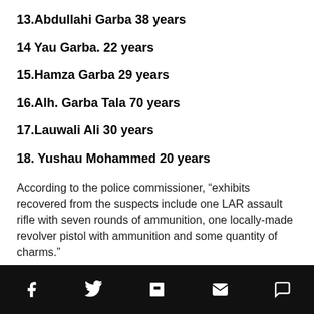13.Abdullahi Garba 38 years
14 Yau Garba. 22 years
15.Hamza Garba 29 years
16.Alh. Garba Tala 70 years
17.Lauwali Ali 30 years
18. Yushau Mohammed 20 years
According to the police commissioner, “exhibits recovered from the suspects include one LAR assault rifle with seven rounds of ammunition, one locally-made revolver pistol with ammunition and some quantity of charms.”
Social share icons: Facebook, Twitter, Flipboard, Email, Comment